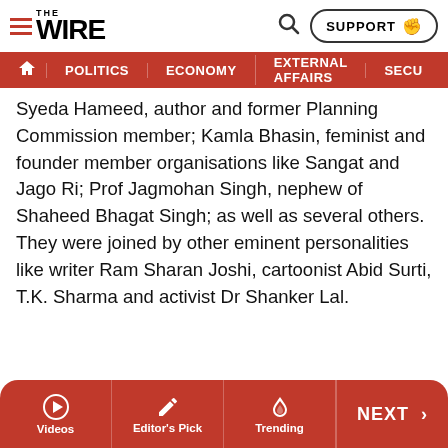THE WIRE — SUPPORT | Search | Navigation: POLITICS | ECONOMY | EXTERNAL AFFAIRS | SECU...
Syeda Hameed, author and former Planning Commission member; Kamla Bhasin, feminist and founder member organisations like Sangat and Jago Ri; Prof Jagmohan Singh, nephew of Shaheed Bhagat Singh; as well as several others. They were joined by other eminent personalities like writer Ram Sharan Joshi, cartoonist Abid Surti, T.K. Sharma and activist Dr Shanker Lal.
Videos | Editor's Pick | Trending | NEXT >